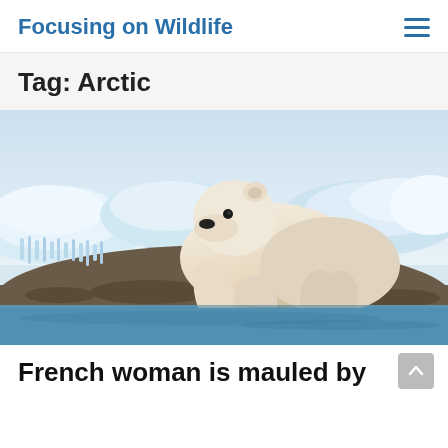Focusing on Wildlife
Tag: Arctic
[Figure (photo): A large white polar bear crouching on a rocky shoreline beside icy water, with broken ice floes and icicles in the background.]
French woman is mauled by